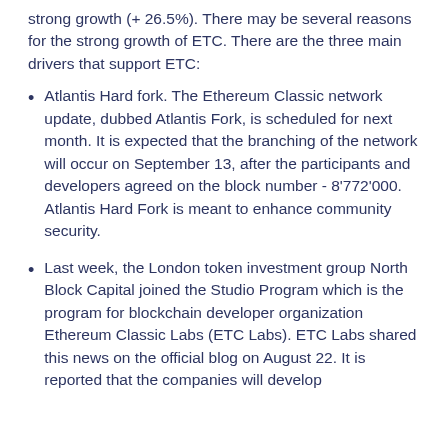strong growth (+ 26.5%). There may be several reasons for the strong growth of ETC. There are the three main drivers that support ETC:
Atlantis Hard fork. The Ethereum Classic network update, dubbed Atlantis Fork, is scheduled for next month. It is expected that the branching of the network will occur on September 13, after the participants and developers agreed on the block number - 8'772'000. Atlantis Hard Fork is meant to enhance community security.
Last week, the London token investment group North Block Capital joined the Studio Program which is the program for blockchain developer organization Ethereum Classic Labs (ETC Labs). ETC Labs shared this news on the official blog on August 22. It is reported that the companies will develop